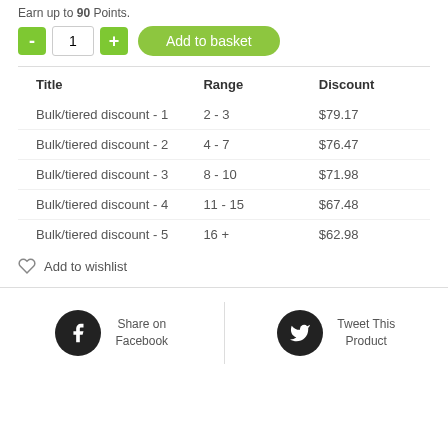Earn up to 90 Points.
| Title | Range | Discount |
| --- | --- | --- |
| Bulk/tiered discount - 1 | 2 - 3 | $79.17 |
| Bulk/tiered discount - 2 | 4 - 7 | $76.47 |
| Bulk/tiered discount - 3 | 8 - 10 | $71.98 |
| Bulk/tiered discount - 4 | 11 - 15 | $67.48 |
| Bulk/tiered discount - 5 | 16 + | $62.98 |
Add to wishlist
Share on Facebook
Tweet This Product